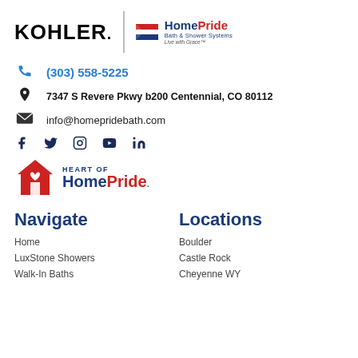[Figure (logo): KOHLER and HomePride Bath & Shower Systems logos side by side with divider line]
(303) 558-5225
7347 S Revere Pkwy b200 Centennial, CO 80112
info@homepridebath.com
[Figure (logo): Social media icons: Facebook, Twitter, Instagram, YouTube, LinkedIn]
[Figure (logo): Heart of HomePride logo with house icon]
Navigate
Locations
Home
Boulder
LuxStone Showers
Castle Rock
Walk-In Baths
Cheyenne WY